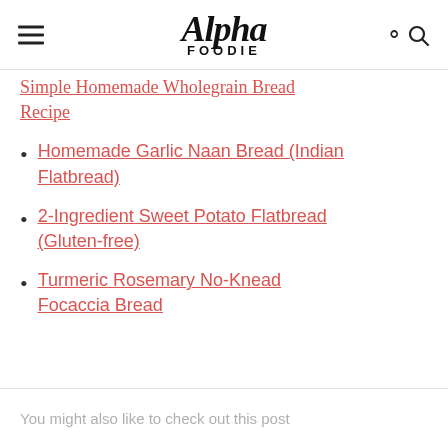Alpha Foodie
Simple Homemade Wholegrain Bread Recipe
Homemade Garlic Naan Bread (Indian Flatbread)
2-Ingredient Sweet Potato Flatbread (Gluten-free)
Turmeric Rosemary No-Knead Focaccia Bread
You might also like to check out this post